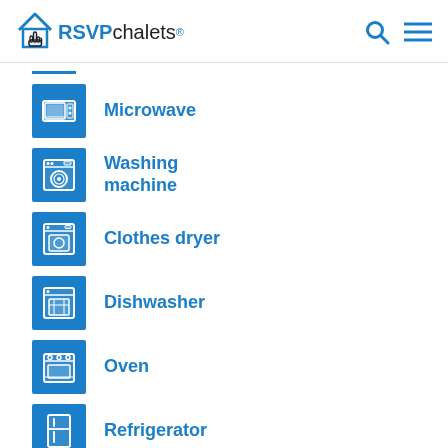RSVPchalets®
Microwave
Washing machine
Clothes dryer
Dishwasher
Oven
Refrigerator